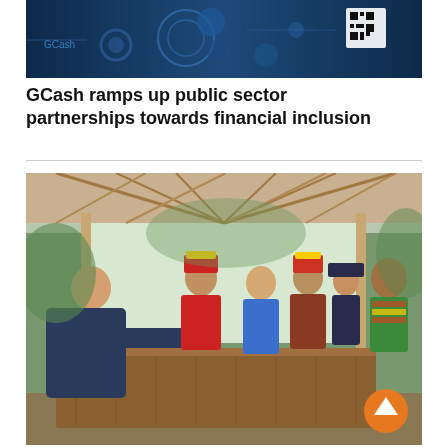[Figure (photo): Banner image showing technology/QR code equipment with blue-toned background — GCash related header banner]
GCash ramps up public sector partnerships towards financial inclusion
[Figure (photo): Photo of a man in dark shirt leaning across a wooden table, interacting with a group of indigenous people wearing traditional colorful attire, inside an open-sided pavilion surrounded by greenery]